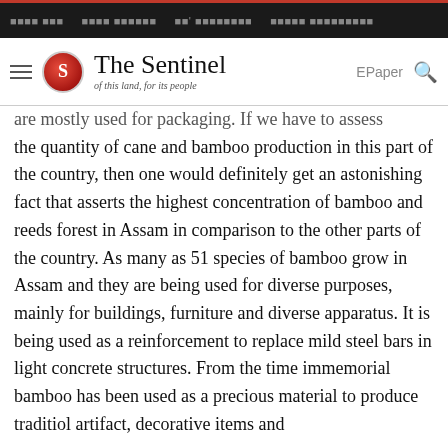The Sentinel - of this land, for its people
are mostly used for packaging. If we have to assess the quantity of cane and bamboo production in this part of the country, then one would definitely get an astonishing fact that asserts the highest concentration of bamboo and reeds forest in Assam in comparison to the other parts of the country. As many as 51 species of bamboo grow in Assam and they are being used for diverse purposes, mainly for buildings, furniture and diverse apparatus. It is being used as a reinforcement to replace mild steel bars in light concrete structures. From the time immemorial bamboo has been used as a precious material to produce traditiol artifact, decorative items and